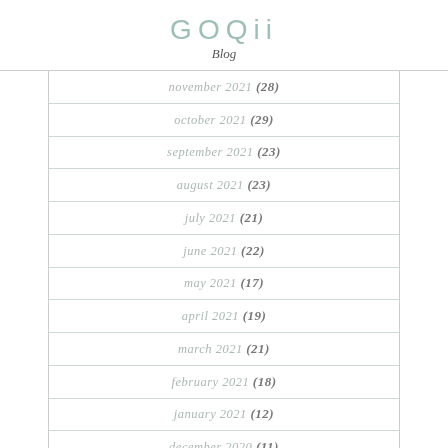GOQii Blog
november 2021 (28)
october 2021 (29)
september 2021 (23)
august 2021 (23)
july 2021 (21)
june 2021 (22)
may 2021 (17)
april 2021 (19)
march 2021 (21)
february 2021 (18)
january 2021 (12)
december 2020 (11)